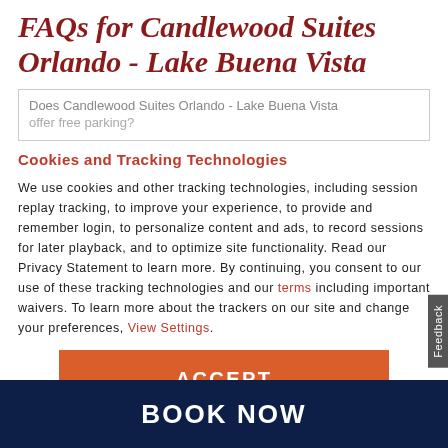FAQs for Candlewood Suites Orlando - Lake Buena Vista
Does Candlewood Suites Orlando - Lake Buena Vista offer free parking?
Cookies and Tracking Technologies
We use cookies and other tracking technologies, including session replay tracking, to improve your experience, to provide and remember login, to personalize content and ads, to record sessions for later playback, and to optimize site functionality. Read our Privacy Statement to learn more. By continuing, you consent to our use of these tracking technologies and our terms including important waivers. To learn more about the trackers on our site and change your preferences, View Settings.
ACCEPT
BOOK NOW